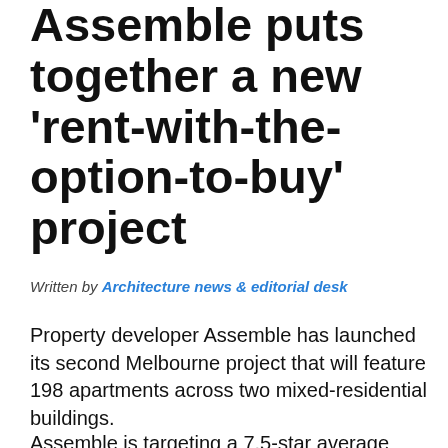Assemble puts together a new 'rent-with-the-option-to-buy' project
Written by Architecture news & editorial desk
Property developer Assemble has launched its second Melbourne project that will feature 198 apartments across two mixed-residential buildings.
Assemble is targeting a 7.5-star average NatHERS rating for the project and is Assemble's second 'rent-with-the-option-to-buy' project, with the first project currently under construction.